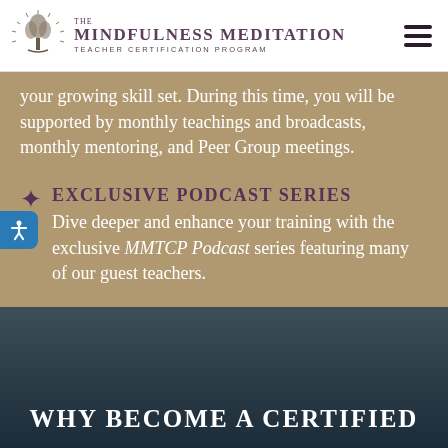The Mindfulness Meditation Teacher Certification Program
your growing skill set. During this time, you will be supported by monthly teachings and broadcasts, monthly mentoring, and Peer Group meetings.
Exclusive Podcast Series — Dive deeper and enhance your training with the exclusive MMTCP Podcast series featuring many of our guest teachers.
Why Become A Certified